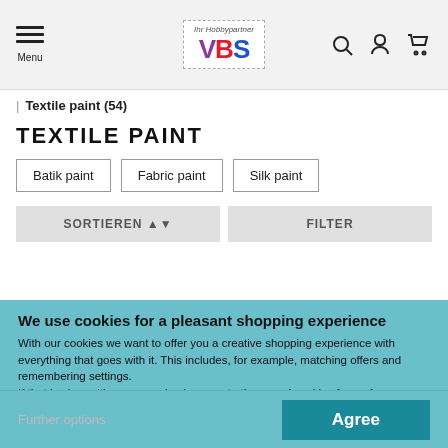VBS Ihr Hobbypartner - Menu
| Textile paint (54)
TEXTILE PAINT
Batik paint
Fabric paint
Silk paint
SORTIEREN ▲▼
FILTER
We use cookies for a pleasant shopping experience
With our cookies we want to offer you a creative shopping experience with everything that goes with it. This includes, for example, matching offers and remembering settings.
If that is okay with you, you simply agree to the use of cookies for preferences, statistics and marketing by clicking on "Agree". You can view more details in our Privacy policy or manage it here.
Further options
Agree